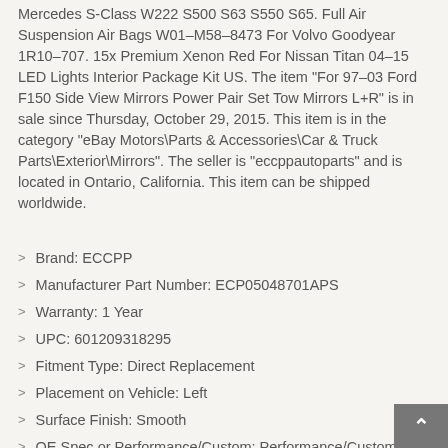Mercedes S-Class W222 S500 S63 S550 S65. Full Air Suspension Air Bags W01-M58-8473 For Volvo Goodyear 1R10-707. 15x Premium Xenon Red For Nissan Titan 04-15 LED Lights Interior Package Kit US. The item “For 97-03 Ford F150 Side View Mirrors Power Pair Set Tow Mirrors L+R” is in sale since Thursday, October 29, 2015. This item is in the category “eBay Motors\Parts & Accessories\Car & Truck Parts\Exterior\Mirrors”. The seller is “eccppautoparts” and is located in Ontario, California. This item can be shipped worldwide.
Brand: ECCPP
Manufacturer Part Number: ECP05048701APS
Warranty: 1 Year
UPC: 601209318295
Fitment Type: Direct Replacement
Placement on Vehicle: Left
Surface Finish: Smooth
OE Spec or Performance/Custom: Performance/Custom